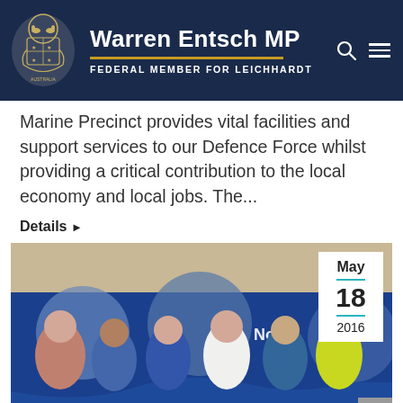Warren Entsch MP — Federal Member for Leichhardt
Marine Precinct provides vital facilities and support services to our Defence Force whilst providing a critical contribution to the local economy and local jobs. The...
Details ▶
[Figure (photo): Group photo of six men standing in front of a blue Norshipco banner/display. One man on far right wears a high-visibility yellow vest. Date badge shows May 18, 2016.]